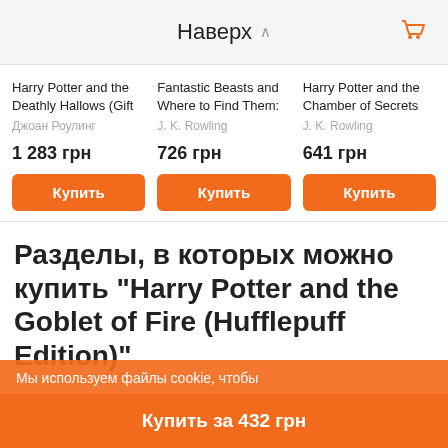Наверх
Harry Potter and the Deathly Hallows (Gift | Джоан Роулинг | 1 283 грн
Fantastic Beasts and Where to Find Them: | J. K. Rowling | 726 грн
Harry Potter and the Chamber of Secrets | J. K. Rowling | 641 грн
Разделы, в которых можно купить "Harry Potter and the Goblet of Fire (Hufflepuff Edition)"
Мы используем файлы cookie, чтобы
Купить за 432 грн